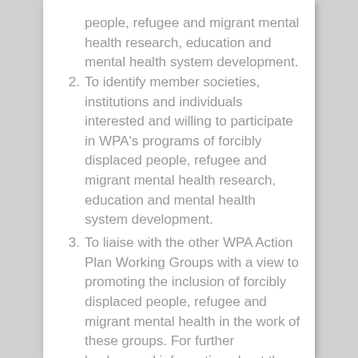people, refugee and migrant mental health research, education and mental health system development.
2. To identify member societies, institutions and individuals interested and willing to participate in WPA's programs of forcibly displaced people, refugee and migrant mental health research, education and mental health system development.
3. To liaise with the other WPA Action Plan Working Groups with a view to promoting the inclusion of forcibly displaced people, refugee and migrant mental health in the work of these groups. For further background information about the working group, see below.